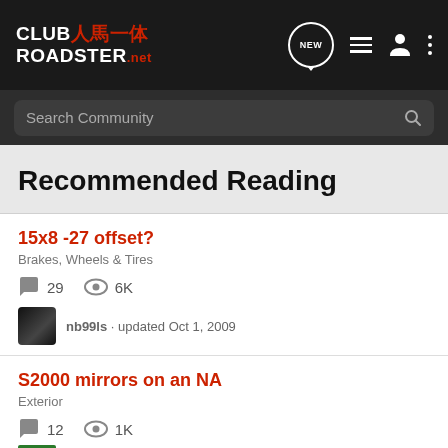CLUB ROADSTER.net — navigation header with NEW, list, user, and menu icons
Search Community
Recommended Reading
15x8 -27 offset?
Brakes, Wheels & Tires
29 comments · 6K views · nb99ls · updated Oct 1, 2009
S2000 mirrors on an NA
Exterior
12 comments · 1K views